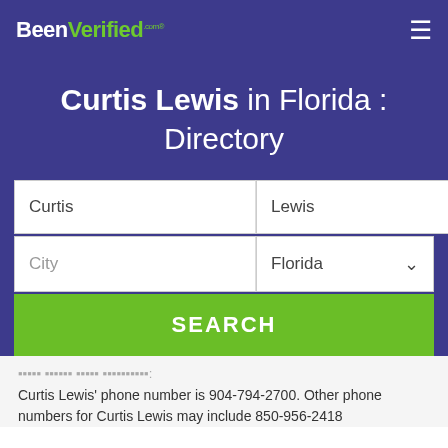BeenVerified.com
Curtis Lewis in Florida : Directory
Curtis | Lewis
City | Florida
SEARCH
Curtis Lewis' phone number is 904-794-2700. Other phone numbers for Curtis Lewis may include 850-956-2418